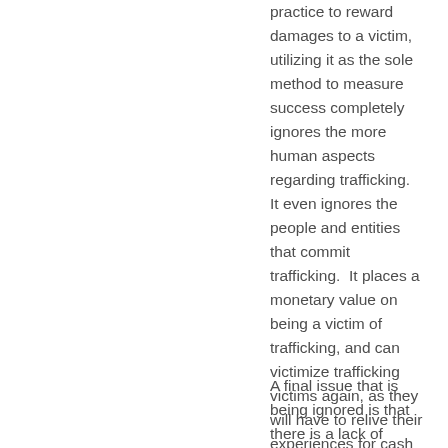practice to reward damages to a victim, utilizing it as the sole method to measure success completely ignores the more human aspects regarding trafficking.  It even ignores the people and entities that commit trafficking.  It places a monetary value on being a victim of trafficking, and can victimize trafficking victims again, as they will have to relive their experiences for cash gain rather than peace of mind.
A final issue that is being ignored is that there is a lack of protections for victims of labor trafficking.  The Internet is used across the globe to hire workers, who may become victims of fraudulent posts and offers.  Yet this law only specifies sex trafficking victims.  This has now